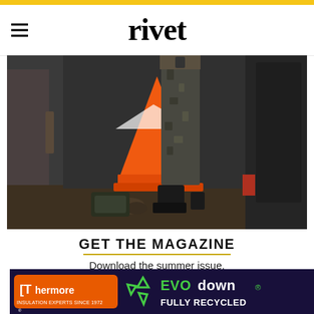rivet
[Figure (photo): Close-up photo of person in camouflage/dark pants and boots standing near an orange traffic cone in a dark industrial or garage setting. Black and white with the orange cone in color.]
GET THE MAGAZINE
Download the summer issue.
READ NOW
[Figure (other): Thermore EVO down INSULATION EXPERTS SINCE 1972 FULLY RECYCLED advertisement banner]